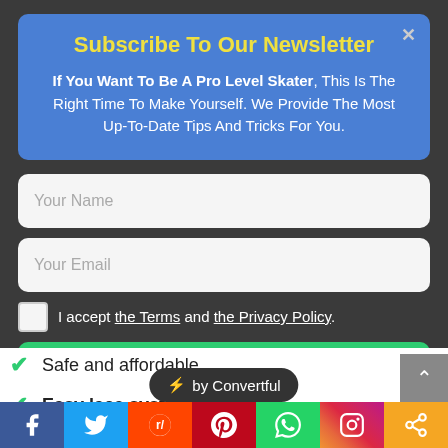Subscribe To Our Newsletter
If You Want To Be A Pro Level Skater, This Is The Right Time To Make Yourself. We Provide The Most Up-To-Date Tips And Tricks For You.
Your Name
Your Email
I accept the Terms and the Privacy Policy.
Subscribe
Safe and affordable
[Figure (other): Convertful badge with lightning bolt icon]
Easy lace system.
[Figure (other): Social share bar with Facebook, Twitter, Reddit, Pinterest, WhatsApp, Instagram, and share icons]